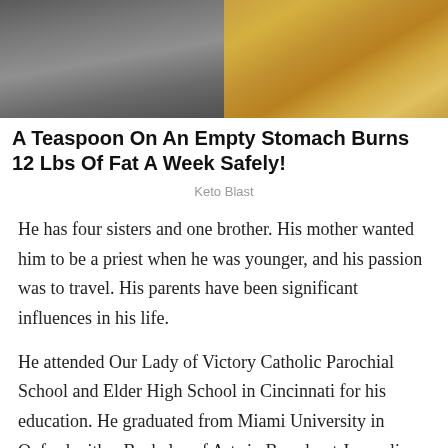[Figure (photo): Advertisement image showing a muscular torso on the left half and a food item (bread/sponge) on the right half]
A Teaspoon On An Empty Stomach Burns 12 Lbs Of Fat A Week Safely!
Keto Blast
He has four sisters and one brother. His mother wanted him to be a priest when he was younger, and his passion was to travel. His parents have been significant influences in his life.
He attended Our Lady of Victory Catholic Parochial School and Elder High School in Cincinnati for his education. He graduated from Miami University in Oxford with a Bachelor of Arts in Broadcast Journalism.
He also attended Delta Tau Delta and the Miami